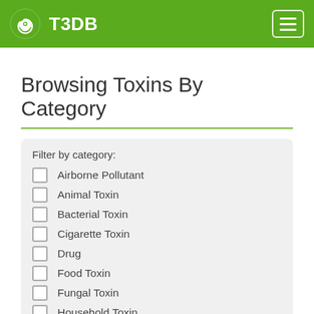T3DB
Browsing Toxins By Category
Filter by category:
Airborne Pollutant
Animal Toxin
Bacterial Toxin
Cigarette Toxin
Drug
Food Toxin
Fungal Toxin
Household Toxin
Industrial/Workplace Toxin
Natural Toxin